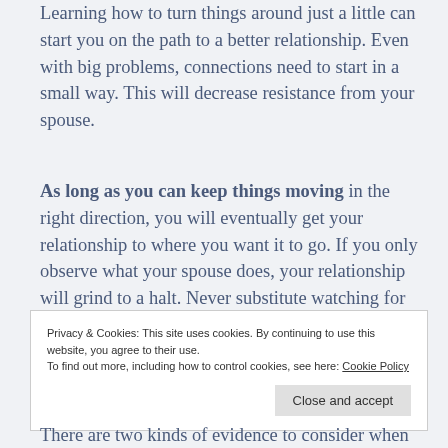Learning how to turn things around just a little can start you on the path to a better relationship. Even with big problems, connections need to start in a small way. This will decrease resistance from your spouse.
As long as you can keep things moving in the right direction, you will eventually get your relationship to where you want it to go. If you only observe what your spouse does, your relationship will grind to a halt. Never substitute watching for doing. There is only hope when you take action.
Privacy & Cookies: This site uses cookies. By continuing to use this website, you agree to their use.
To find out more, including how to control cookies, see here: Cookie Policy
There are two kinds of evidence to consider when